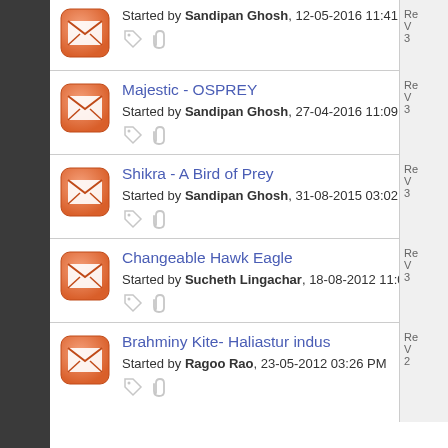Started by Sandipan Ghosh, 12-05-2016 11:41 AM
Majestic - OSPREY
Started by Sandipan Ghosh, 27-04-2016 11:09 AM
Shikra - A Bird of Prey
Started by Sandipan Ghosh, 31-08-2015 03:02 PM
Changeable Hawk Eagle
Started by Sucheth Lingachar, 18-08-2012 11:03 PM
Brahminy Kite- Haliastur indus
Started by Ragoo Rao, 23-05-2012 03:26 PM